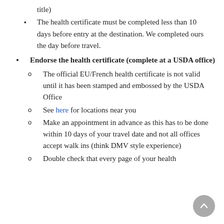title)
The health certificate must be completed less than 10 days before entry at the destination. We completed ours the day before travel.
Endorse the health certificate (complete at a USDA office)
The official EU/French health certificate is not valid until it has been stamped and embossed by the USDA Office
See here for locations near you
Make an appointment in advance as this has to be done within 10 days of your travel date and not all offices accept walk ins (think DMV style experience)
Double check that every page of your health